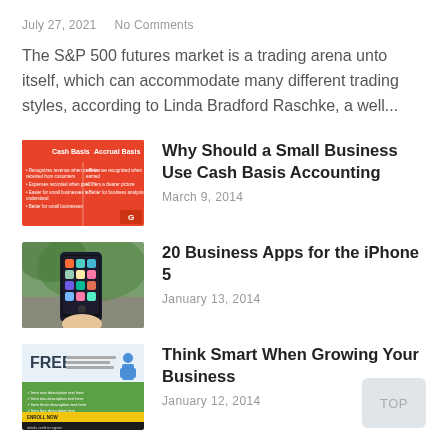July 27, 2021   No Comments
The S&P 500 futures market is a trading arena unto itself, which can accommodate many different trading styles, according to Linda Bradford Raschke, a well...
[Figure (other): Thumbnail image showing a comparison table with red header row labeled 'Cash Basis' and 'Accrual Basis' with bullet points below, orange/red background design]
Why Should a Small Business Use Cash Basis Accounting
March 9, 2014
[Figure (photo): Photo of a hand holding an iPhone 5 displaying colorful app icons, with green foliage in the background]
20 Business Apps for the iPhone 5
January 13, 2014
[Figure (other): Promotional infographic with 'FREE' text prominently displayed, green checklist section, and yellow/black call-to-action section at the bottom, featuring a business person illustration]
Think Smart When Growing Your Business
January 12, 2014